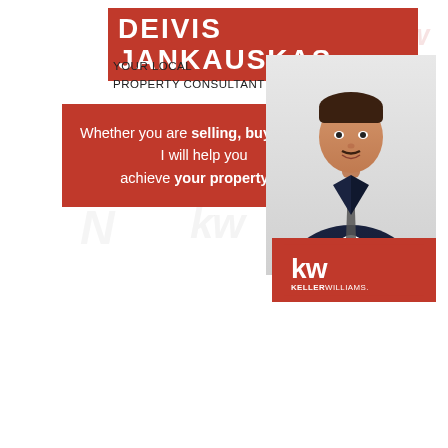DEIVIS JANKAUSKAS
YOUR LOCAL
PROPERTY CONSULTANT
Whether you are selling, buying or investing I will help you achieve your property goals
[Figure (photo): Professional headshot of Deivis Jankauskas in a dark navy suit with a tie]
[Figure (logo): Keller Williams logo: kw in white on red background with KELLERWILLIAMS. text below]